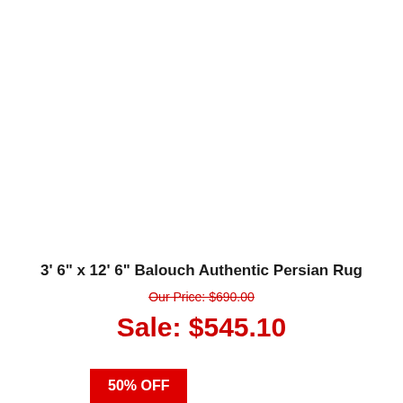3' 6" x 12' 6" Balouch Authentic Persian Rug
Our Price: $690.00
Sale: $545.10
50% OFF